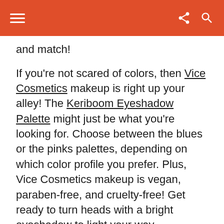and match!
If you're not scared of colors, then Vice Cosmetics makeup is right up your alley! The Keriboom Eyeshadow Palette might just be what you're looking for. Choose between the blues or the pinks palettes, depending on which color profile you prefer. Plus, Vice Cosmetics makeup is vegan, paraben-free, and cruelty-free! Get ready to turn heads with a bright eyeshadow to light your way.
4. Sun-kissed Blush